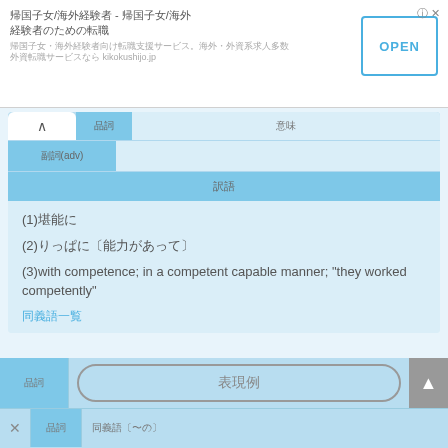[Figure (screenshot): Advertisement banner for kikokushijo.jp with Japanese text and OPEN button]
|  | 品詞 | 意味 |
| --- | --- | --- |
|  | 副詞(adv) |  |
|  |  |  |
|  | 訳語 |  |
| (1)堪能に |  |  |
| (2)りっぱに〔能力があって〕 |  |  |
| (3)with competence; in a competent capable manner; "they worked competently" |  |  |
| 同義語一覧 |  |  |
| 品詞 | 表現例 |  |
| --- | --- | --- |
| 品詞 | 表現例 |  |
| 品詞 | 同義語〔〜の〕 |  |